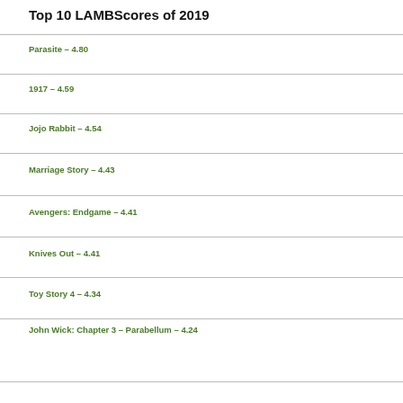Top 10 LAMBScores of 2019
Parasite – 4.80
1917 – 4.59
Jojo Rabbit – 4.54
Marriage Story – 4.43
Avengers: Endgame – 4.41
Knives Out – 4.41
Toy Story 4 – 4.34
John Wick: Chapter 3 – Parabellum – 4.24